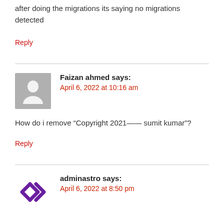after doing the migrations its saying no migrations detected
Reply
Faizan ahmed says: April 6, 2022 at 10:16 am
How do i remove “Copyright 2021—— sumit kumar”?
Reply
adminastro says: April 6, 2022 at 8:50 pm